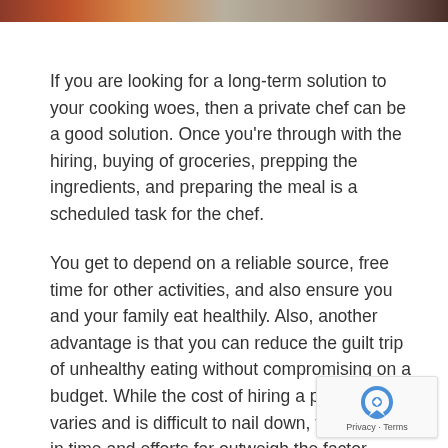[Figure (photo): Partial top image bar showing food or cooking scene in orange/brown tones]
If you are looking for a long-term solution to your cooking woes, then a private chef can be a good solution. Once you're through with the hiring, buying of groceries, prepping the ingredients, and preparing the meal is a scheduled task for the chef.
You get to depend on a reliable source, free time for other activities, and also ensure you and your family eat healthily. Also, another advantage is that you can reduce the guilt trip of unhealthy eating without compromising on a budget. While the cost of hiring a private chef varies and is difficult to nail down, the benefits in time and efforts far outweigh the factor.